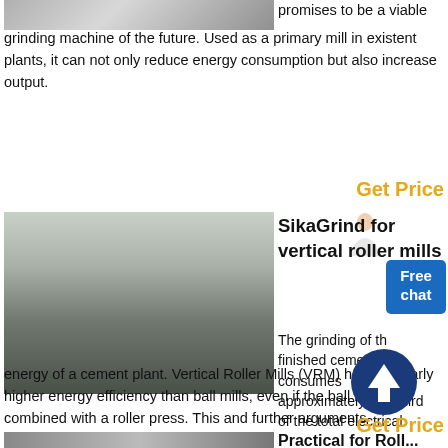[Figure (photo): Partial view of industrial grinding machinery at top of page]
promises to be a viable grinding machine of the future. Used as a primary mill in existent plants, it can not only reduce energy consumption but also increase output.
Get Price
[Figure (photo): Industrial plant interior with vertical roller mill equipment, factory floor with green paint]
SikaGrind for vertical roller mills
The grinding of the finished cement consumes approximately one third of the total electrical energy of a cement plant. Vertical Roller Mills (VRM) have a clearly higher energy efficiency than ball mills, even if the ball mill is combined with a roller press. This and further arguments
Get Price
[Figure (photo): Partial bottom image strip of industrial machinery]
Practical for Roll...